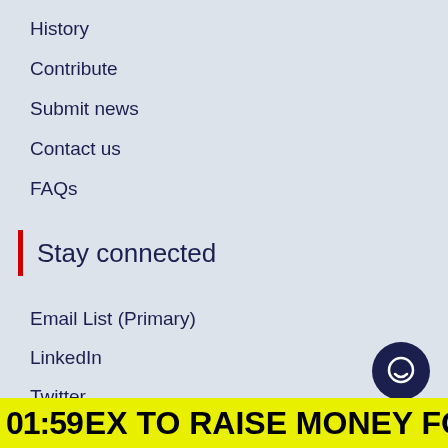History
Contribute
Submit news
Contact us
FAQs
Stay connected
Email List (Primary)
LinkedIn
Twitter
Instagram
Charity Today TV
01:59 EX TO RAISE MONEY FOR M